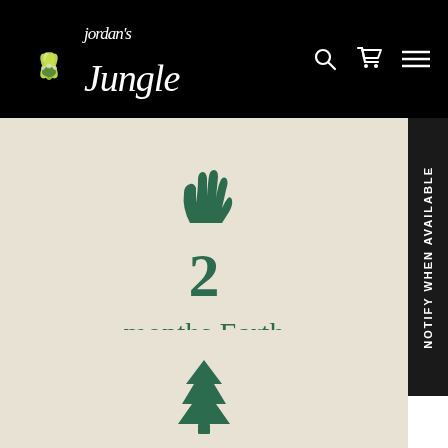[Figure (logo): Jordan's Jungle logo with green lotus/flower icon and white cursive text on black background, with search, cart, and menu icons on the right]
[Figure (illustration): Dark green succulent/cactus hand-like icon above the number 2]
2
months Earth Positive
[Figure (illustration): Dark green tree/pine icon at the bottom]
NOTIFY WHEN AVAILABLE